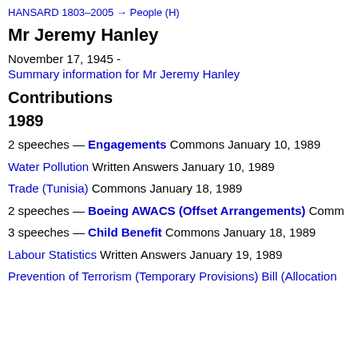HANSARD 1803–2005 → People (H)
Mr Jeremy Hanley
November 17, 1945 -
Summary information for Mr Jeremy Hanley
Contributions
1989
2 speeches — Engagements Commons January 10, 1989
Water Pollution Written Answers January 10, 1989
Trade (Tunisia) Commons January 18, 1989
2 speeches — Boeing AWACS (Offset Arrangements) Comm…
3 speeches — Child Benefit Commons January 18, 1989
Labour Statistics Written Answers January 19, 1989
Prevention of Terrorism (Temporary Provisions) Bill (Allocation…